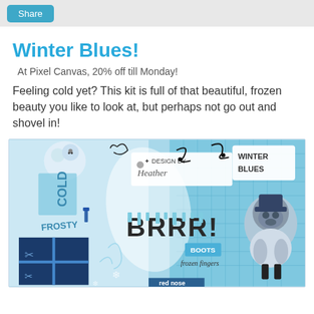Share
Winter Blues!
At Pixel Canvas, 20% off till Monday!
Feeling cold yet? This kit is full of that beautiful, frozen beauty you like to look at, but perhaps not go out and shovel in!
[Figure (illustration): Winter Blues digital scrapbooking kit collage featuring blue and white wintry elements: snowman, snowflakes, BRRR! text, a pug in winter clothes, words like COLD, FROSTY, BOOTS, frozen fingers, red nose, and 'DESIGN BY Heather' and 'WINTER BLUES' labels on a blue/teal background.]